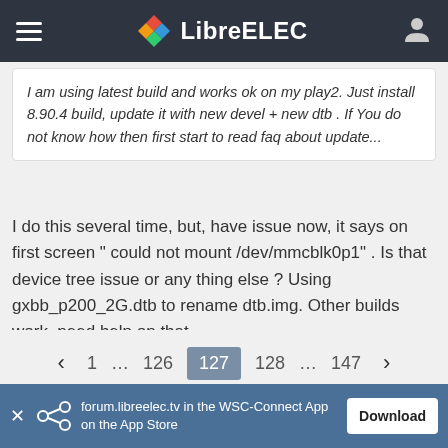LibreELEC
I am using latest build and works ok on my play2. Just install 8.90.4 build, update it with new devel + new dtb . If You do not know how then first start to read faq about update...
I do this several time, but, have issue now, it says on first screen " could not mount /dev/mmcblk0p1" . Is that device tree issue or any thing else ? Using gxbb_p200_2G.dtb to rename dtb.img. Other builds work, need help on that
1 … 126 127 128 … 147
forum.libreelec.tv in the WSC-Connect App on the App Store Download